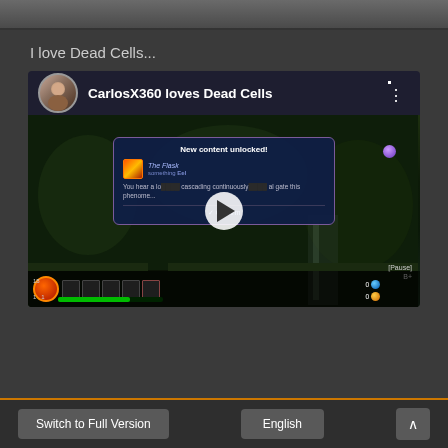[Figure (screenshot): Top strip of a game or website screenshot]
I love Dead Cells...
[Figure (screenshot): YouTube-style video embed titled 'CarlosX360 loves Dead Cells' showing Dead Cells gameplay with a 'New content unlocked!' dialog box and play button overlay]
Switch to Full Version
English